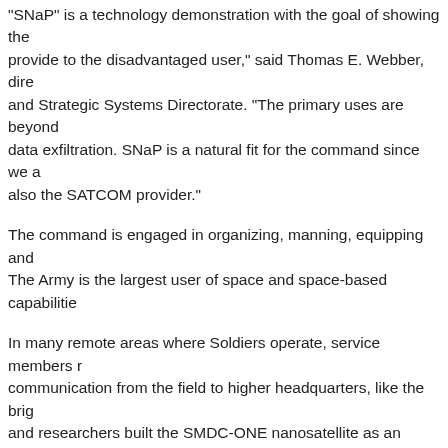'SNaP' is a technology demonstration with the goal of showing the provide to the disadvantaged user," said Thomas E. Webber, dire and Strategic Systems Directorate. "The primary uses are beyond data exfiltration. SNaP is a natural fit for the command since we a also the SATCOM provider."
The command is engaged in organizing, manning, equipping and The Army is the largest user of space and space-based capabilitie
In many remote areas where Soldiers operate, service members r communication from the field to higher headquarters, like the brig and researchers built the SMDC-ONE nanosatellite as an innovati stands for Orbital Nanosatellite Effect.
SMDC-ONE was a technology demonstration, which showed nan used for beyond-line-of-sight communications and data exfiltratio nanosatellites are scheduled to launch this year and an undoterm
SNaP is a 5-kilogram mass cube satellite, or CubeSat, which cost size of a loaf of bread. It provides data and over-the-horizon comm multi-functional relay capability with five times the data rate of SM
"SNaP will provide beyond-line-of-sight communications and data the warfighter and provide communication ability for users, who m communications, due to user location or overhead cover," said Je SMDC Space Division.
Another difference from previous satellites is that this is the first C